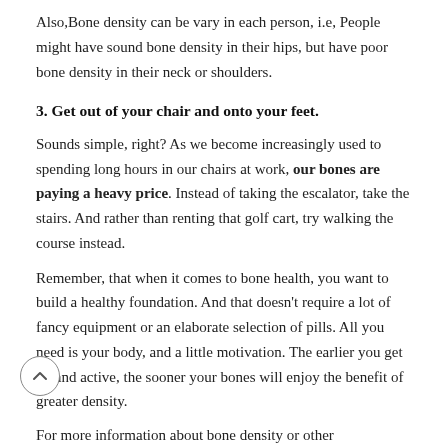Also,Bone density can be vary in each person, i.e, People might have sound bone density in their hips, but have poor bone density in their neck or shoulders.
3. Get out of your chair and onto your feet.
Sounds simple, right? As we become increasingly used to spending long hours in our chairs at work, our bones are paying a heavy price. Instead of taking the escalator, take the stairs. And rather than renting that golf cart, try walking the course instead.
Remember, that when it comes to bone health, you want to build a healthy foundation. And that doesn’t require a lot of fancy equipment or an elaborate selection of pills. All you need is your body, and a little motivation. The earlier you get up and active, the sooner your bones will enjoy the benefit of greater density.
For more information about bone density or other